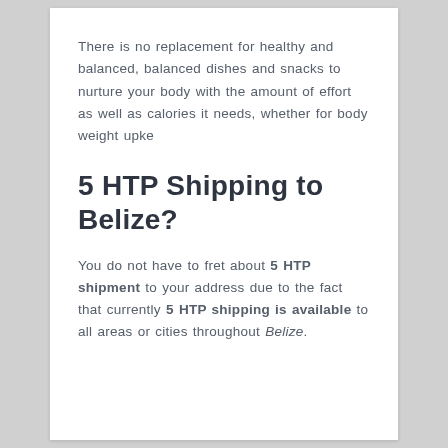There is no replacement for healthy and balanced, balanced dishes and snacks to nurture your body with the amount of effort as well as calories it needs, whether for body weight upke
5 HTP Shipping to Belize?
You do not have to fret about 5 HTP shipment to your address due to the fact that currently 5 HTP shipping is available to all areas or cities throughout Belize.